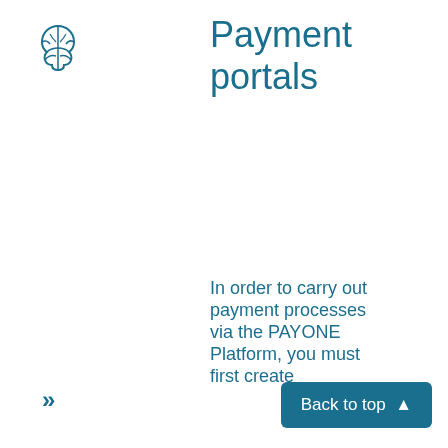[Figure (logo): Brain icon/logo in teal outline style]
Payment portals
In order to carry out payment processes via the PAYONE Platform, you must first create
»
Back to top ▲